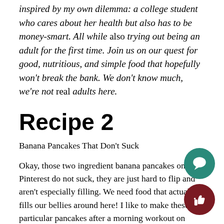inspired by my own dilemma: a college student who cares about her health but also has to be money-smart. All while also trying out being an adult for the first time. Join us on our quest for good, nutritious, and simple food that hopefully won't break the bank. We don't know much, we're not real adults here.
Recipe 2
Banana Pancakes That Don't Suck
Okay, those two ingredient banana pancakes on Pinterest do not suck, they are just hard to flip and aren't especially filling. We need food that actually fills our bellies around here! I like to make these particular pancakes after a morning workout on relaxing weekends. Leftovers can be kept in the frig...